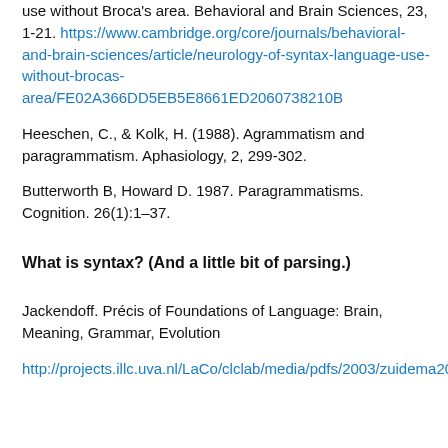use without Broca's area. Behavioral and Brain Sciences, 23, 1-21. https://www.cambridge.org/core/journals/behavioral-and-brain-sciences/article/neurology-of-syntax-language-use-without-brocas-area/FE02A366DD5EB5E8661ED2060738210B
Heeschen, C., & Kolk, H. (1988). Agrammatism and paragrammatism. Aphasiology, 2, 299-302.
Butterworth B, Howard D. 1987. Paragrammatisms. Cognition. 26(1):1–37.
What is syntax? (And a little bit of parsing.)
Jackendoff. Précis of Foundations of Language: Brain, Meaning, Grammar, Evolution
http://projects.illc.uva.nl/LaCo/clclab/media/pdfs/2003/zuidema2003c.pdf